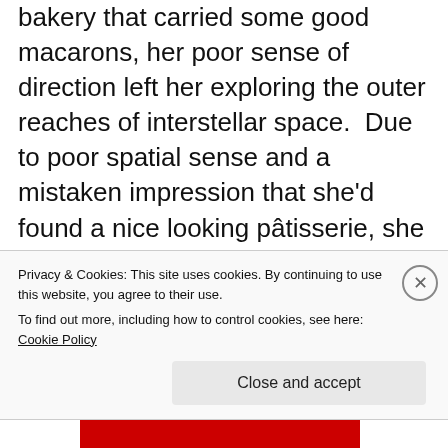bakery that carried some good macarons, her poor sense of direction left her exploring the outer reaches of interstellar space.  Due to poor spatial sense and a mistaken impression that she'd found a nice looking pâtisserie, she inadvertently made an unplanned landing of her ship, the Atelerix, on the surface of a mysterious planet in the middle of a theater of a primitive species of dinosaur dramatists.
Fortunately it was a surprisingly soft
Privacy & Cookies: This site uses cookies. By continuing to use this website, you agree to their use.
To find out more, including how to control cookies, see here: Cookie Policy
Close and accept